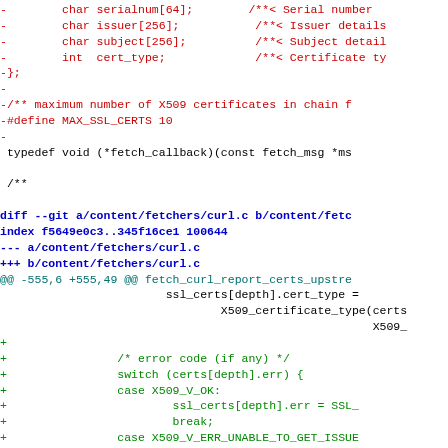[Figure (screenshot): A code diff showing changes to content/fetchers/curl.c with removed lines in red and added lines in green on a white background.]